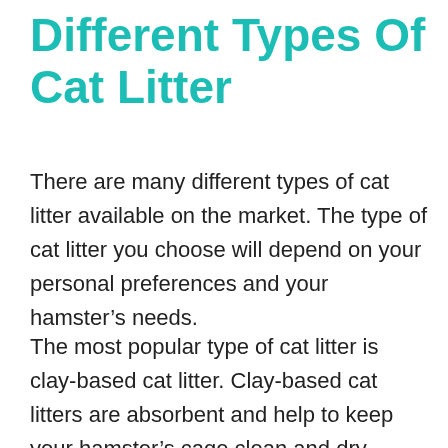Different Types Of Cat Litter
There are many different types of cat litter available on the market. The type of cat litter you choose will depend on your personal preferences and your hamster’s needs.
The most popular type of cat litter is clay-based cat litter. Clay-based cat litters are absorbent and help to keep your hamster’s cage clean and dry.